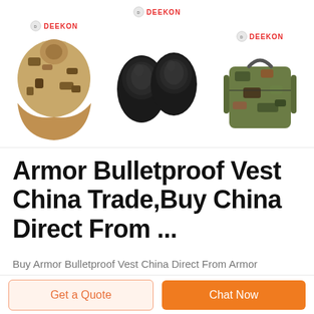[Figure (photo): Three product images from DEEKON brand: a camouflage ghillie poncho/cloak on the left, black knee/elbow armor pads in the center, and a camouflage tactical backpack on the right, each with the DEEKON logo above.]
Armor Bulletproof Vest China Trade,Buy China Direct From ...
Buy Armor Bulletproof Vest China Direct From Armor Bulletproof Vest Factories at Alibaba.com. Help Global Buyers Source China Easily.